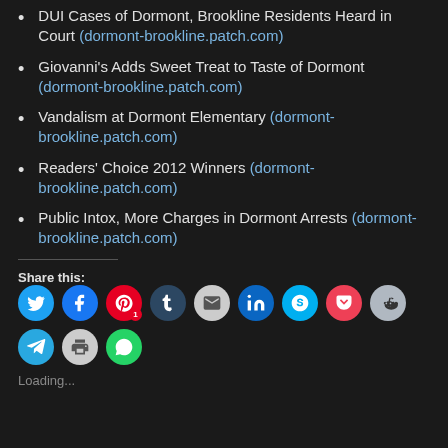DUI Cases of Dormont, Brookline Residents Heard in Court (dormont-brookline.patch.com)
Giovanni's Adds Sweet Treat to Taste of Dormont (dormont-brookline.patch.com)
Vandalism at Dormont Elementary (dormont-brookline.patch.com)
Readers' Choice 2012 Winners (dormont-brookline.patch.com)
Public Intox, More Charges in Dormont Arrests (dormont-brookline.patch.com)
Share this:
[Figure (infographic): Social sharing icon buttons: Twitter, Facebook, Pinterest (with badge 1), Tumblr, Email, LinkedIn, Skype, Pocket, Reddit, Telegram, Print, WhatsApp]
Loading...